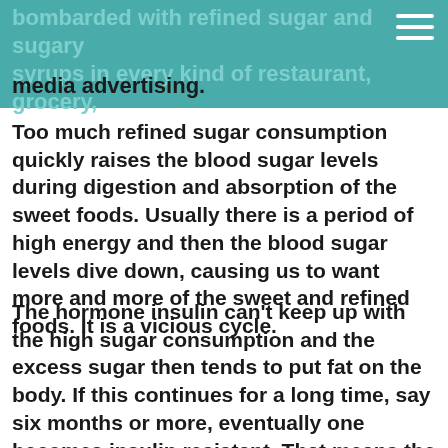bombarded with refined sugar and sugary syrups in every kind of restaurant, grocery, media advertising.
Too much refined sugar consumption quickly raises the blood sugar levels during digestion and absorption of the sweet foods. Usually there is a period of high energy and then the blood sugar levels dive down, causing us to want more and more of the sweet and refined foods. It is a vicious cycle.
The hormone insulin can't keep up with the high sugar consumption and the excess sugar then tends to put fat on the body. If this continues for a long time, say six months or more, eventually one becomes insulin resistant. That means the insulin cannot do its job well. The whole hormone system can get out of whack and not